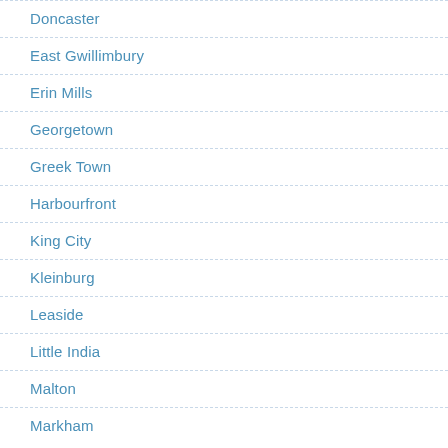Doncaster
East Gwillimbury
Erin Mills
Georgetown
Greek Town
Harbourfront
King City
Kleinburg
Leaside
Little India
Malton
Markham